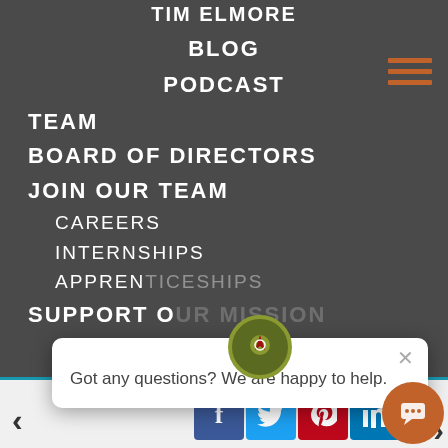TIM ELMORE
BLOG
PODCAST
TEAM
BOARD OF DIRECTORS
JOIN OUR TEAM
CAREERS
INTERNSHIPS
APPREN[ticeships]
SUPPORT O[ur Mission]
SUPPOR[t]
APPLY
[Figure (screenshot): Chat popup overlay with icon showing 'Got any questions? We are happy to help.' with close button]
[Figure (screenshot): Footer bar with navigation arrows, social media icons (Facebook, Twitter, Pinterest, LinkedIn), and chat bubble button]